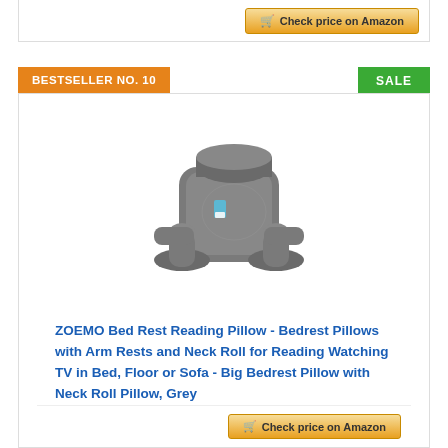[Figure (other): Check price on Amazon button at top of page]
BESTSELLER NO. 10
SALE
[Figure (photo): Grey bed rest reading pillow with arm rests and neck roll pillow, ZOEMO brand]
ZOEMO Bed Rest Reading Pillow - Bedrest Pillows with Arm Rests and Neck Roll for Reading Watching TV in Bed, Floor or Sofa - Big Bedrest Pillow with Neck Roll Pillow, Grey
[Figure (other): Check price on Amazon button at bottom of page]